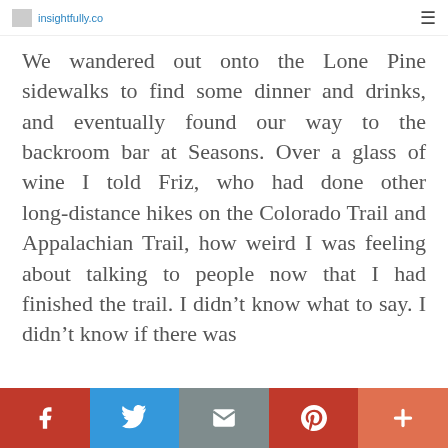insightfully.co
We wandered out onto the Lone Pine sidewalks to find some dinner and drinks, and eventually found our way to the backroom bar at Seasons. Over a glass of wine I told Friz, who had done other long-distance hikes on the Colorado Trail and Appalachian Trail, how weird I was feeling about talking to people now that I had finished the trail. I didn't know what to say. I didn't know if there was
Facebook | Twitter | Email | Pinterest | More